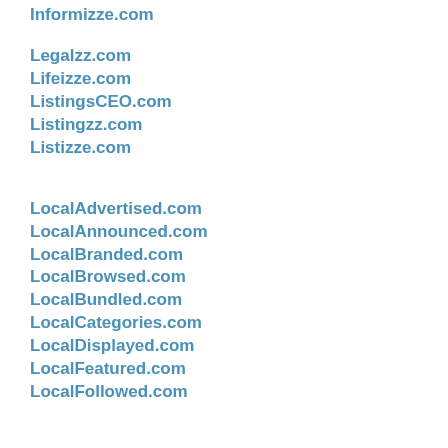Informizze.com
Legalzz.com
Lifeizze.com
ListingsCEO.com
Listingzz.com
Listizze.com
LocalAdvertised.com
LocalAnnounced.com
LocalBranded.com
LocalBrowsed.com
LocalBundled.com
LocalCategories.com
LocalDisplayed.com
LocalFeatured.com
LocalFollowed.com